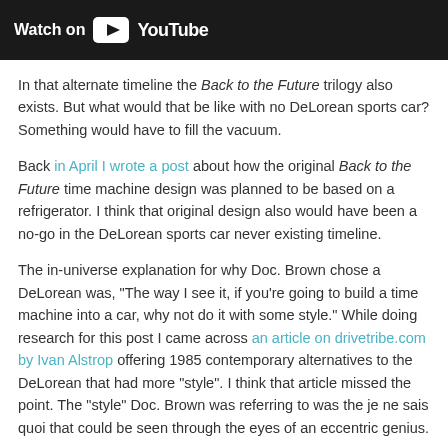[Figure (screenshot): YouTube 'Watch on YouTube' banner button on dark background]
In that alternate timeline the Back to the Future trilogy also exists. But what would that be like with no DeLorean sports car? Something would have to fill the vacuum.
Back in April I wrote a post about how the original Back to the Future time machine design was planned to be based on a refrigerator. I think that original design also would have been a no-go in the DeLorean sports car never existing timeline.
The in-universe explanation for why Doc. Brown chose a DeLorean was, "The way I see it, if you're going to build a time machine into a car, why not do it with some style." While doing research for this post I came across an article on drivetribe.com by Ivan Alstrop offering 1985 contemporary alternatives to the DeLorean that had more "style". I think that article missed the point. The "style" Doc. Brown was referring to was the je ne sais quoi that could be seen through the eyes of an eccentric genius.
The drivetribe.com article refers to a 2015 Esquire interview with Back to the Future...